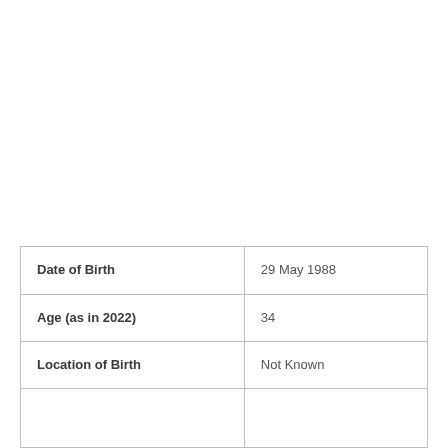| Field | Value |
| --- | --- |
| Date of Birth | 29 May 1988 |
| Age (as in 2022) | 34 |
| Location of Birth | Not Known |